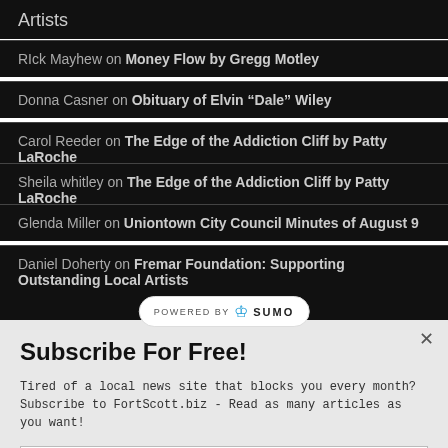Artists
RIck Mayhew on Money Flow by Gregg Motley
Donna Casner on Obituary of Elvin “Dale” Wiley
Carol Reeder on The Edge of the Addiction Cliff by Patty LaRoche
Sheila whitley on The Edge of the Addiction Cliff by Patty LaRoche
Glenda Miller on Uniontown City Council Minutes of August 9
Daniel Doherty on Fremar Foundation: Supporting Outstanding Local Artists
Subscribe For Free!
Tired of a local news site that blocks you every month? Subscribe to FortScott.biz - Read as many articles as you want!